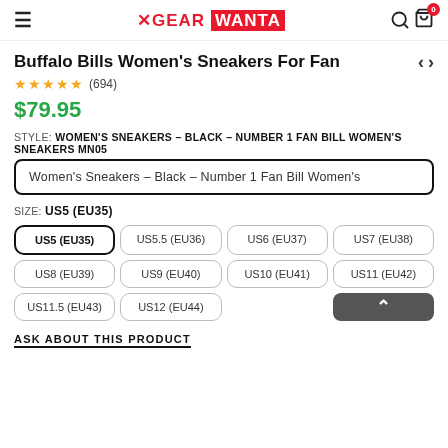≡  ✕GEAR WANTA  🔍 🛍 0
Buffalo Bills Women's Sneakers For Fan
★★★★★ (694)
$79.95
STYLE: WOMEN'S SNEAKERS – BLACK – NUMBER 1 FAN BILL WOMEN'S SNEAKERS MN05
Women's Sneakers – Black – Number 1 Fan Bill Women's
SIZE: US5 (EU35)
US5 (EU35)  US5.5 (EU36)  US6 (EU37)  US7 (EU38)  US8 (EU39)  US9 (EU40)  US10 (EU41)  US11 (EU42)  US11.5 (EU43)  US12 (EU44)
ASK ABOUT THIS PRODUCT